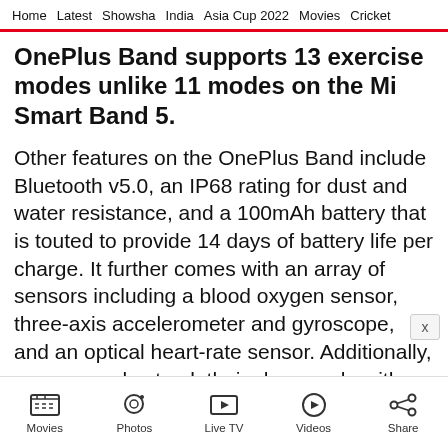Home  Latest  Showsha  India  Asia Cup 2022  Movies  Cricket
OnePlus Band supports 13 exercise modes unlike 11 modes on the Mi Smart Band 5.
Other features on the OnePlus Band include Bluetooth v5.0, an IP68 rating for dust and water resistance, and a 100mAh battery that is touted to provide 14 days of battery life per charge. It further comes with an array of sensors including a blood oxygen sensor, three-axis accelerometer and gyroscope, and an optical heart-rate sensor. Additionally, users can also track their sleep cycle with the device.
Movies  Photos  Live TV  Videos  Share